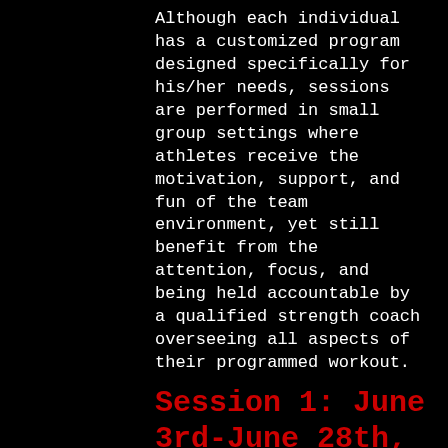Although each individual has a customized program designed specifically for his/her needs, sessions are performed in small group settings where athletes receive the motivation, support, and fun of the team environment, yet still benefit from the attention, focus, and being held accountable by a qualified strength coach overseeing all aspects of their programmed workout.
Session 1: June 3rd-June 28th, 2018 (4 weeks)
Session 2: July 8th-Aug 2nd, 2018